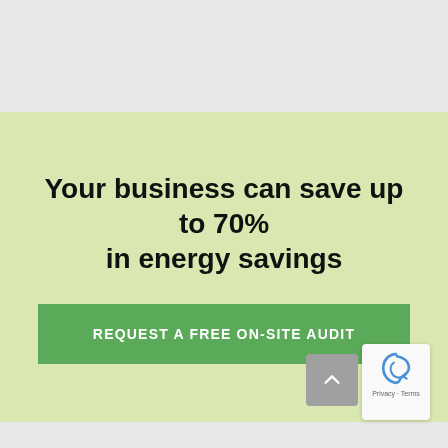Your business can save up to 70% in energy savings
REQUEST A FREE ON-SITE AUDIT
[Figure (other): Scroll-to-top button (grey rounded square with upward arrow chevron) and reCAPTCHA badge with privacy and terms text]